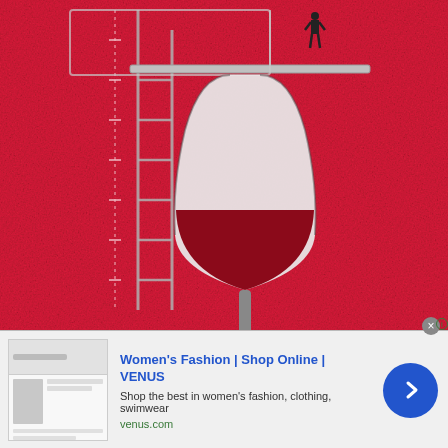[Figure (illustration): Illustration on bright red/crimson background showing a large wine glass (half filled with red wine, half white/empty) positioned on the right side, and a tall diving board ladder structure on the left side with a small diver figure at the top. The scene implies jumping/diving into wine.]
[Figure (screenshot): Advertisement banner for VENUS women's fashion. Shows a thumbnail screenshot of the VENUS website on the left, ad text in the middle with title 'Women's Fashion | Shop Online | VENUS', description 'Shop the best in women's fashion, clothing, swimwear', URL 'venus.com', and a blue circular arrow button on the right. A close (X) button appears at top right of banner.]